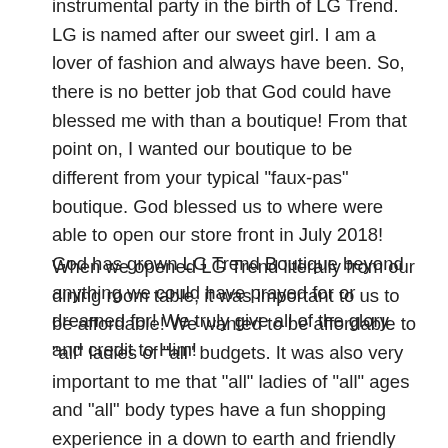instrumental party in the birth of LG Trend. LG is named after our sweet girl. I am a lover of fashion and always have been. So, there is no better job that God could have blessed me with than a boutique! From that point on, I wanted our boutique to be different from your typical "faux-pas" boutique. God blessed us to where were able to open our store front in July 2018! God has grown LG Trend Boutique beyond anything we could have prayed for or dreamed for! We truly give all of the glory and credit to Him!
When we opened LG Trend literally from our dining room table, it was important to us to be affordable! We wanted to be affordable to "all" ladies of "all" budgets. It was also very important to me that "all" ladies of "all" ages and "all" body types have a fun shopping experience in a down to earth and friendly atmosphere! We did not want to be your typical boutique that only specializes to certain budgets and body types. So when you shop with us at LG Trend Boutique, you will be treated